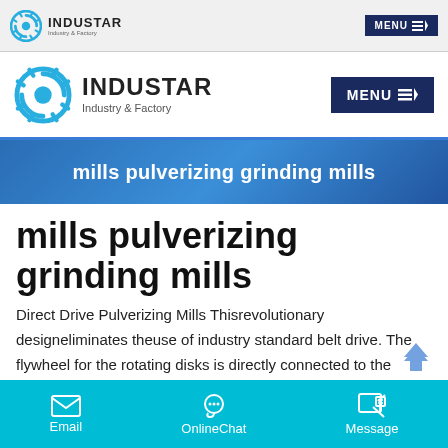INDUSTAR Industry & Factory | MENU
[Figure (logo): INDUSTAR Industry & Factory logo with gear icon and MENU button in dark navy]
[Figure (infographic): Blue gradient banner with white text: mills pulverizing grinding mills]
mills pulverizing grinding mills
Direct Drive Pulverizing Mills Thisrevolutionary designeliminates theuse of industry standard belt drive. The flywheel for the rotating disks is directly connected to the motor shaft, eliminating the belt drive, bearing housing and motor adjustment
Email | OnlineChat | Message